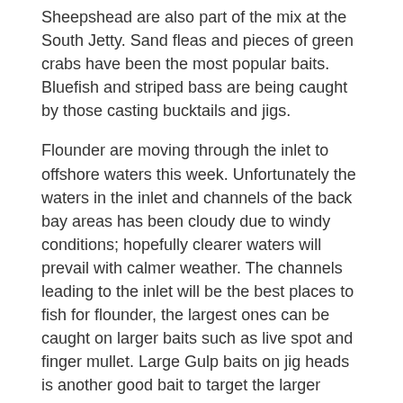Sheepshead are also part of the mix at the South Jetty. Sand fleas and pieces of green crabs have been the most popular baits. Bluefish and striped bass are being caught by those casting bucktails and jigs.
Flounder are moving through the inlet to offshore waters this week. Unfortunately the waters in the inlet and channels of the back bay areas has been cloudy due to windy conditions; hopefully clearer waters will prevail with calmer weather. The channels leading to the inlet will be the best places to fish for flounder, the largest ones can be caught on larger baits such as live spot and finger mullet. Large Gulp baits on jig heads is another good bait to target the larger flounder.
Whenever conditions allow boats to head out to the wreck and reef sites, the sea bass fishing has been very good, with limit catches being common. Flounder are becoming a larger portion of the mix and triggerfish are still being caught.
The boats that are fishing the offshore canyons are finding a mix of species. The white marlin have been thinning out but some wahoo, swordfish and yellowfin tuna have been brought back to the docks recently. Many are also working the lobster pot buoys to take advantage of the last of the chicken dolphin that are